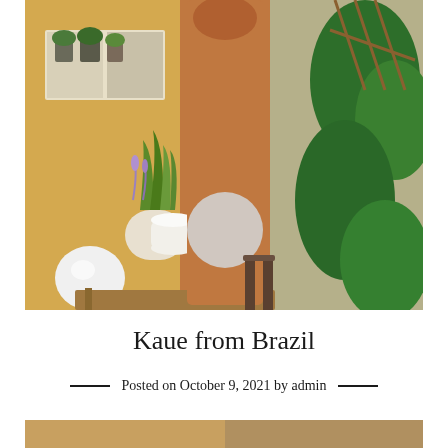[Figure (photo): Outdoor photo of a person standing nude in a garden/patio area with potted plants, a white round ball, wooden furniture, and yellow brick wall. The genital area is blurred with a white/grey oval circle.]
Kaue from Brazil
Posted on October 9, 2021 by admin
[Figure (photo): Partial view of another photo at the bottom of the page, cropped.]